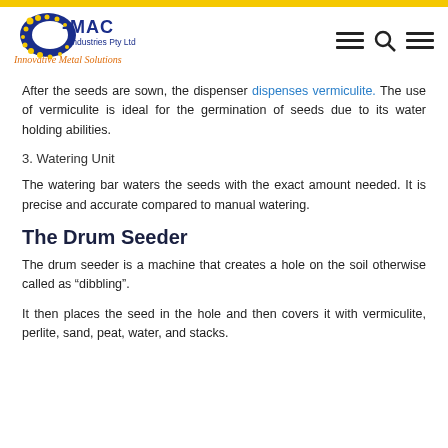C-MAC Industries Pty Ltd — Innovative Metal Solutions
After the seeds are sown, the dispenser dispenses vermiculite. The use of vermiculite is ideal for the germination of seeds due to its water holding abilities.
3. Watering Unit
The watering bar waters the seeds with the exact amount needed. It is precise and accurate compared to manual watering.
The Drum Seeder
The drum seeder is a machine that creates a hole on the soil otherwise called as “dibbling”.
It then places the seed in the hole and then covers it with vermiculite, perlite, sand, peat, water, and stacks.